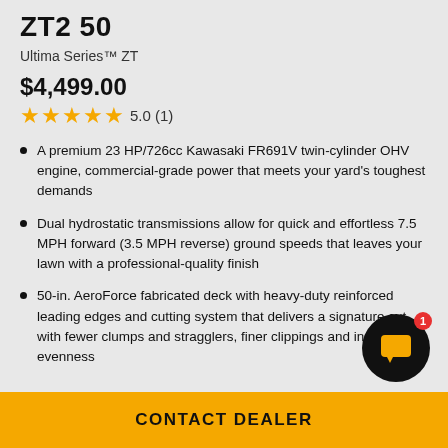ZT2 50
Ultima Series™ ZT
$4,499.00
★★★★★ 5.0 (1)
A premium 23 HP/726cc Kawasaki FR691V twin-cylinder OHV engine, commercial-grade power that meets your yard's toughest demands
Dual hydrostatic transmissions allow for quick and effortless 7.5 MPH forward (3.5 MPH reverse) ground speeds that leaves your lawn with a professional-quality finish
50-in. AeroForce fabricated deck with heavy-duty reinforced leading edges and cutting system that delivers a signature cut with fewer clumps and stragglers, finer clippings and increased evenness
CONTACT DEALER